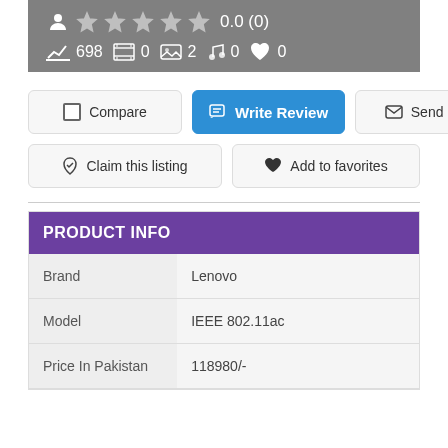[Figure (screenshot): User stats bar showing rating 0.0 (0), and counts: 698 (chart icon), 0 (video icon), 2 (photo icon), 0 (music icon), 0 (favorites icon)]
Compare
Write Review
Send Inquiry
Claim this listing
Add to favorites
PRODUCT INFO
|  |  |
| --- | --- |
| Brand | Lenovo |
| Model | IEEE 802.11ac |
| Price In Pakistan | 118980/- |